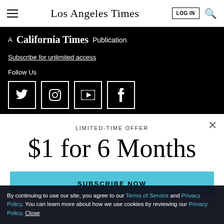Los Angeles Times
A California Times Publication
Subscribe for unlimited access
Follow Us
[Figure (infographic): Social media icons: Twitter, Instagram, YouTube, Facebook in white boxes on black background]
LIMITED-TIME OFFER
$1 for 6 Months
SUBSCRIBE NOW
By continuing to use our site, you agree to our Terms of Service and Privacy Policy. You can learn more about how we use cookies by reviewing our Privacy Policy. Close